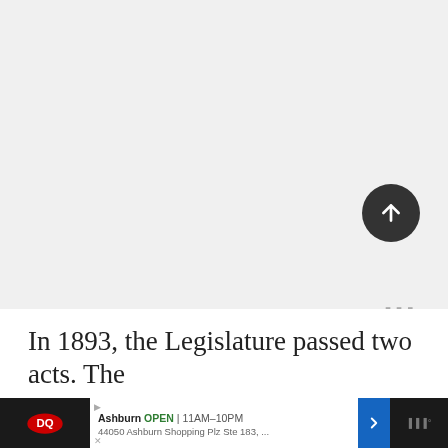[Figure (screenshot): Large mostly blank light gray area representing a webpage content area with scroll-to-top button and weather icon]
In 1893, the Legislature passed two acts. The
[Figure (other): Dairy Queen advertisement banner: Ashburn OPEN | 11AM–10PM, 44050 Ashburn Shopping Plz Ste 183, ...]